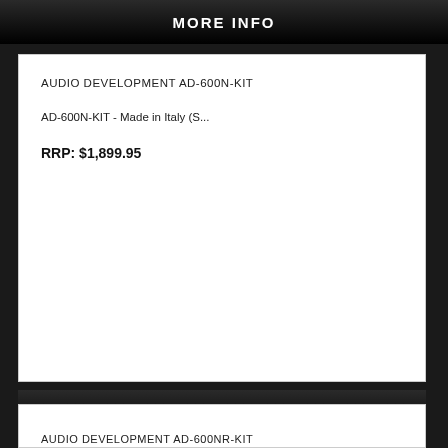MORE INFO
AUDIO DEVELOPMENT AD-600N-KIT
AD-600N-KIT - Made in Italy (S...
RRP: $1,899.95
MORE INFO
AUDIO DEVELOPMENT AD-600NR-KIT